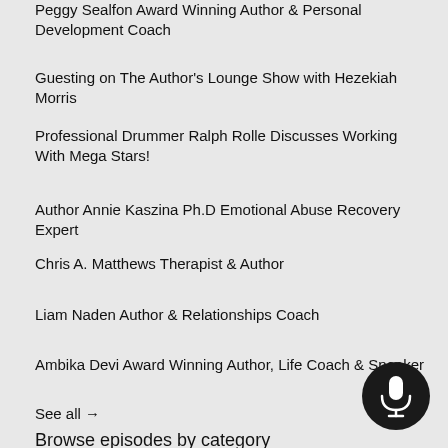Peggy Sealfon Award Winning Author & Personal Development Coach
Guesting on The Author's Lounge Show with Hezekiah Morris
Professional Drummer Ralph Rolle Discusses Working With Mega Stars!
Author Annie Kaszina Ph.D Emotional Abuse Recovery Expert
Chris A. Matthews Therapist & Author
Liam Naden Author & Relationships Coach
Ambika Devi Award Winning Author, Life Coach & Speaker
See all →
Browse episodes by category
[Figure (illustration): Circular black microphone button icon in bottom right corner]